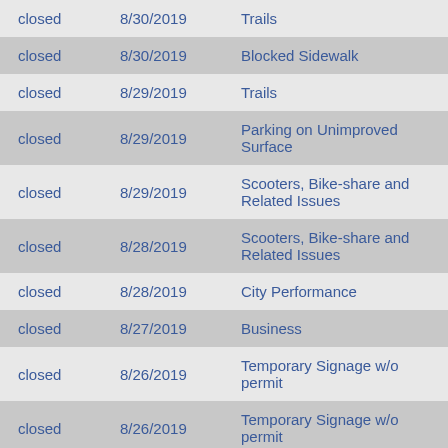| Status | Date | Type |
| --- | --- | --- |
| closed | 8/30/2019 | Trails |
| closed | 8/30/2019 | Blocked Sidewalk |
| closed | 8/29/2019 | Trails |
| closed | 8/29/2019 | Parking on Unimproved Surface |
| closed | 8/29/2019 | Scooters, Bike-share and Related Issues |
| closed | 8/28/2019 | Scooters, Bike-share and Related Issues |
| closed | 8/28/2019 | City Performance |
| closed | 8/27/2019 | Business |
| closed | 8/26/2019 | Temporary Signage w/o permit |
| closed | 8/26/2019 | Temporary Signage w/o permit |
| closed | 8/26/2019 | Scooters, Bike-share and Related Issues |